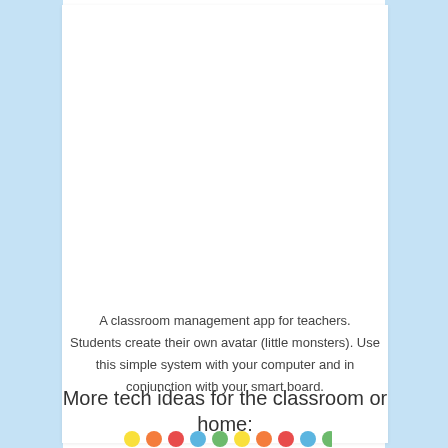A classroom management app for teachers. Students create their own avatar (little monsters). Use this simple system with your computer and in conjunction with your smart board.
More tech ideas for the classroom or home:
[Figure (illustration): Partial view of an illustration with colorful dots/balloons and a character, appearing at the bottom of the page]